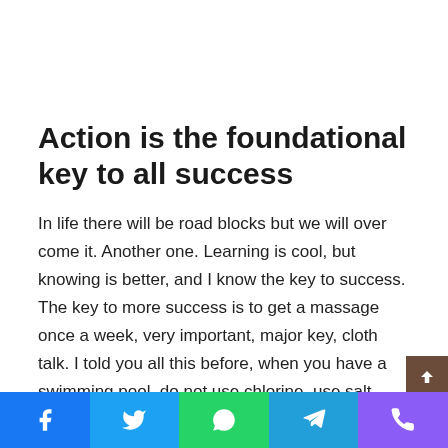Action is the foundational key to all success
In life there will be road blocks but we will over come it. Another one. Learning is cool, but knowing is better, and I know the key to success. The key to more success is to get a massage once a week, very important, major key, cloth talk. I told you all this before, when you have a swimming pool, do not use chlorine, use salt water, the healing, salt water is the healing. I'm up to something. Life is what you make it, so let's make it. The other day the grass was brown, now it's green